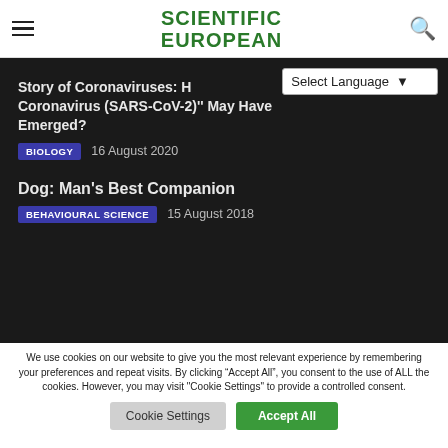SCIENTIFIC EUROPEAN
Story of Coronaviruses: How Coronavirus (SARS-CoV-2)'' May Have Emerged?
BIOLOGY  16 August 2020
Dog: Man's Best Companion
BEHAVIOURAL SCIENCE  15 August 2018
We use cookies on our website to give you the most relevant experience by remembering your preferences and repeat visits. By clicking “Accept All”, you consent to the use of ALL the cookies. However, you may visit "Cookie Settings" to provide a controlled consent.